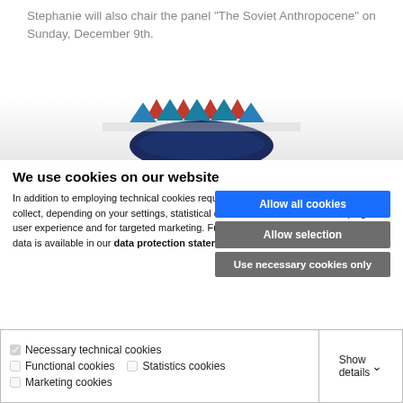Stephanie will also chair the panel “The Soviet Anthropocene” on Sunday, December 9th.
[Figure (illustration): Partial logo with teal and red zigzag crown pattern over a dark circle, center bottom cropped]
We use cookies on our website
In addition to employing technical cookies required for the provision of the service, we collect, depending on your settings, statistical data as well as data for developing the user experience and for targeted marketing. Further information on the use of your data is available in our data protection statement.
Allow all cookies
Allow selection
Use necessary cookies only
Necessary technical cookies
Functional cookies   Statistics cookies
Marketing cookies
Show details